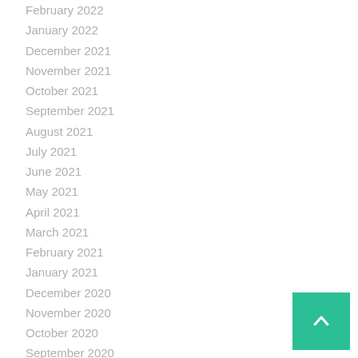February 2022
January 2022
December 2021
November 2021
October 2021
September 2021
August 2021
July 2021
June 2021
May 2021
April 2021
March 2021
February 2021
January 2021
December 2020
November 2020
October 2020
September 2020
August 2020
July 2020
June 2020
May 2020
April 2020